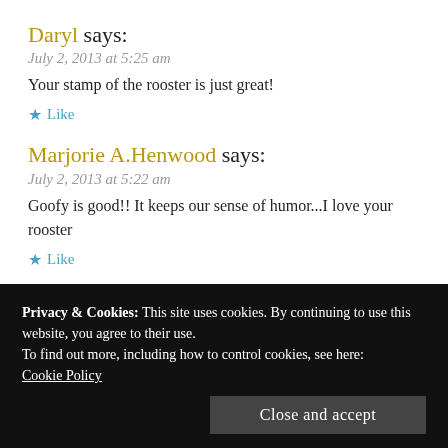Daryl says:
July 2, 2013 at 5:25 am
Your stamp of the rooster is just great!
★ Like
Marjorie A.Henwood says:
July 2, 2013 at 5:22 am
Goofy is good!! It keeps our sense of humor...I love your rooster
★ Like
Privacy & Cookies: This site uses cookies. By continuing to use this website, you agree to their use.
To find out more, including how to control cookies, see here:
Cookie Policy
Close and accept